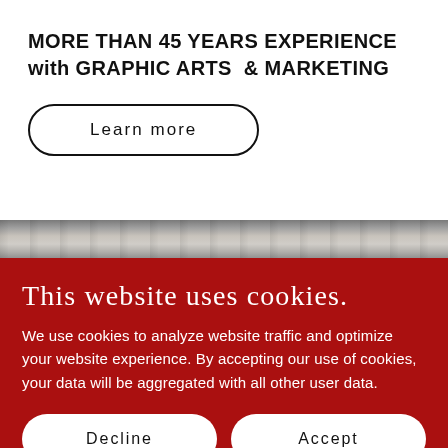MORE THAN 45 YEARS EXPERIENCE with GRAPHIC ARTS & MARKETING
Learn more
[Figure (photo): Horizontal strip showing printing machinery and printed materials]
This website uses cookies.
We use cookies to analyze website traffic and optimize your website experience. By accepting our use of cookies, your data will be aggregated with all other user data.
Decline
Accept